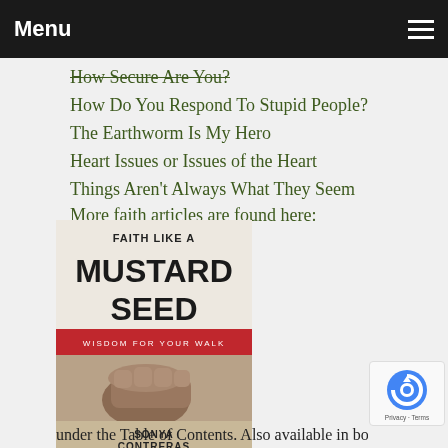Menu
How Secure Are You?
How Do You Respond To Stupid People?
The Earthworm Is My Hero
Heart Issues or Issues of the Heart
Things Aren't Always What They Seem
More faith articles are found here:
[Figure (photo): Book cover: Faith Like A Mustard Seed – Wisdom For Your Walk by Sonya Contreras, showing a fist holding a mustard seed]
under the Table of Contents. Also available in book